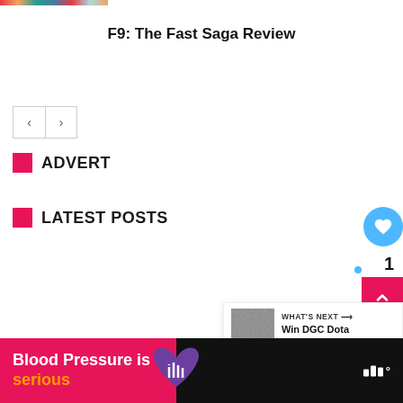[Figure (illustration): Rainbow colored bar at top left]
F9: The Fast Saga Review
[Figure (illustration): Navigation back/forward arrow buttons]
ADVERT
LATEST POSTS
[Figure (illustration): Blue circular heart/like button showing count of 1]
[Figure (illustration): Pink scroll-to-top button with upward chevron]
[Figure (illustration): What's Next panel with thumbnail and text: Win DGC Dota 2 tickets! Al...]
[Figure (illustration): Ad banner: Blood Pressure is serious with heart icon and weather.com logo]